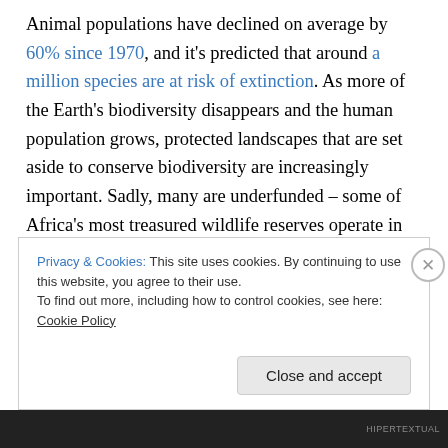Animal populations have declined on average by 60% since 1970, and it's predicted that around a million species are at risk of extinction. As more of the Earth's biodiversity disappears and the human population grows, protected landscapes that are set aside to conserve biodiversity are increasingly important. Sadly, many are underfunded – some of Africa's most treasured wildlife reserves operate in funding deficits of hundreds of millions of dollars.
In unfenced wilderness, scientists rarely have an inventory on the exact numbers of species in an area at a particular
Privacy & Cookies: This site uses cookies. By continuing to use this website, you agree to their use. To find out more, including how to control cookies, see here: Cookie Policy